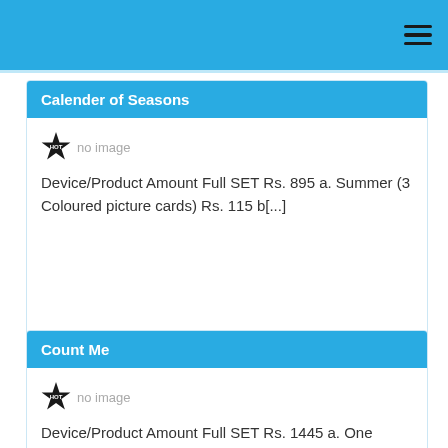[Figure (other): Blue top navigation bar with hamburger menu icon]
Calender of Seasons
[Figure (other): HOT badge icon with no image placeholder]
Device/Product Amount Full SET Rs. 895 a. Summer (3 Coloured picture cards) Rs. 115 b[...]
Count Me
[Figure (other): HOT badge icon with no image placeholder]
Device/Product Amount Full SET Rs. 1445 a. One Wooden